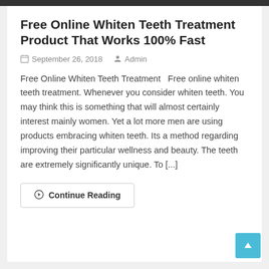Free Online Whiten Teeth Treatment Product That Works 100% Fast
September 26, 2018   Admin
Free Online Whiten Teeth Treatment   Free online whiten teeth treatment. Whenever you consider whiten teeth. You may think this is something that will almost certainly interest mainly women. Yet a lot more men are using products embracing whiten teeth. Its a method regarding improving their particular wellness and beauty. The teeth are extremely significantly unique. To [...]
Continue Reading